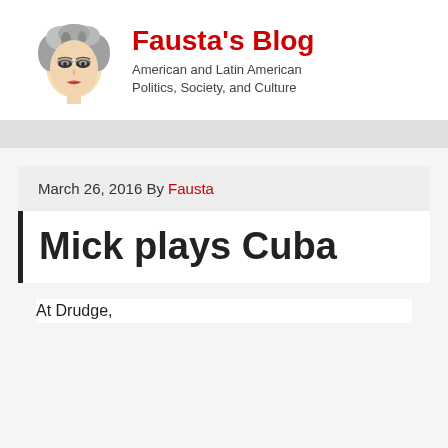[Figure (illustration): Illustrated portrait of a woman with gray curly hair and dramatic makeup, serving as the blog logo for Fausta's Blog]
Fausta's Blog
American and Latin American Politics, Society, and Culture
March 26, 2016 By Fausta
Mick plays Cuba
At Drudge,